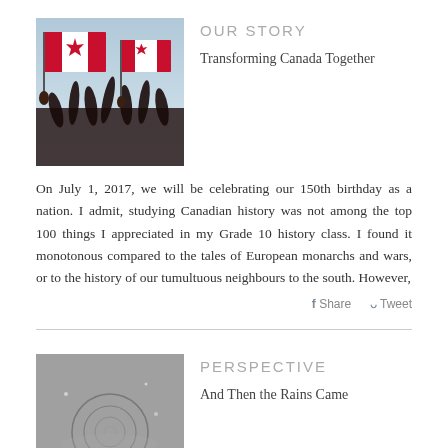[Figure (photo): People holding Canadian flags against a sky background, silhouettes of raised hands]
OUR STORY
Transforming Canada Together
On July 1, 2017, we will be celebrating our 150th birthday as a nation. I admit, studying Canadian history was not among the top 100 things I appreciated in my Grade 10 history class. I found it monotonous compared to the tales of European monarchs and wars, or to the history of our tumultuous neighbours to the south. However,
f Share  Tweet
[Figure (photo): Close-up of a rain drop ripple on a wet surface, grainy grey tones]
PERSPECTIVE
And Then the Rains Came
It was a dusty spring. The snow melted too early, leaving the grass